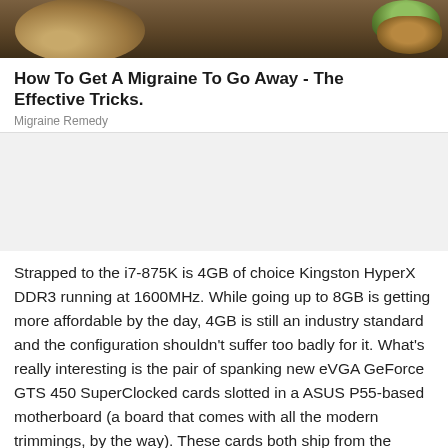[Figure (photo): Top portion of a food/health photo showing wooden surface with a round object and a small bowl of green cardamom pods on the right side.]
How To Get A Migraine To Go Away - The Effective Tricks.
Migraine Remedy
Strapped to the i7-875K is 4GB of choice Kingston HyperX DDR3 running at 1600MHz. While going up to 8GB is getting more affordable by the day, 4GB is still an industry standard and the configuration shouldn't suffer too badly for it. What's really interesting is the pair of spanking new eVGA GeForce GTS 450 SuperClocked cards slotted in a ASUS P55-based motherboard (a board that comes with all the modern trimmings, by the way). These cards both ship from the factory with an extra 100MHz on the core. Ryan wasn't hugely impressed with the GTS 450 and I can't blame him, but a pair in SLI have the chance to produce an